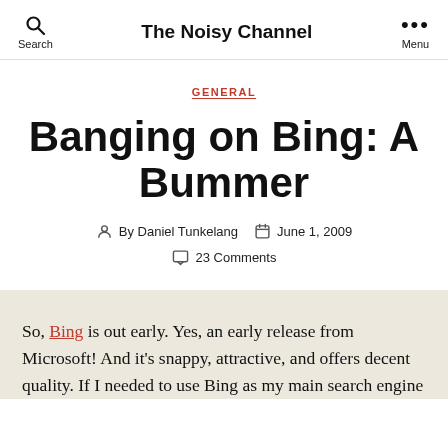The Noisy Channel
GENERAL
Banging on Bing: A Bummer
By Daniel Tunkelang   June 1, 2009   23 Comments
So, Bing is out early. Yes, an early release from Microsoft! And it's snappy, attractive, and offers decent quality. If I needed to use Bing as my main search engine